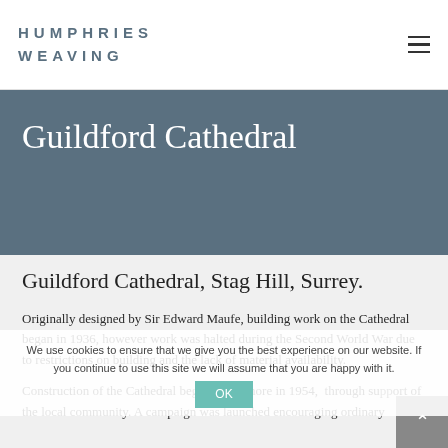HUMPHRIES WEAVING
Guildford Cathedral
Guildford Cathedral, Stag Hill, Surrey.
Originally designed by Sir Edward Maufe, building work on the Cathedral began in 1936, however work was halted during the Second World War due to restrictions on building and the lack of material availability.
Construction of the Cathedral began once more in 1954, through support of the local community. A campaign was launched encouraging ordinary
We use cookies to ensure that we give you the best experience on our website. If you continue to use this site we will assume that you are happy with it.